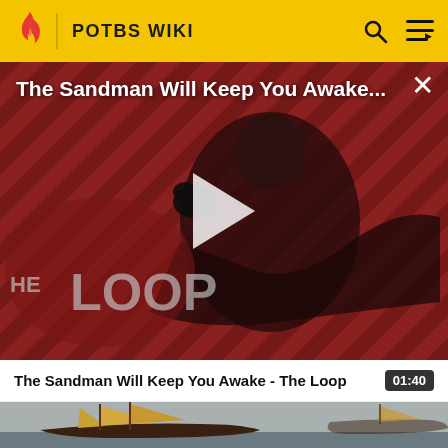POTBS WIKI
[Figure (screenshot): Video thumbnail for 'The Sandman Will Keep You Awake - The Loop' showing a dark figure with a raven against diagonal striped red/dark background. 'THE LOOP' text visible. Play button overlay in center. Close (X) button top right.]
The Sandman Will Keep You Awake - The Loop
01:40
[Figure (screenshot): Video thumbnail showing a sailing ship (galleon) with tan/yellow sails against a grey sky background.]